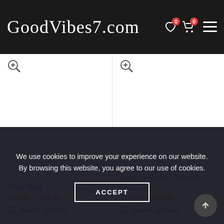GoodVibes7.com
Vike Mug
$19.95 – $23.95
Select options
Ragnar Final Speech Mug
$19.95 – $23.95
Select options
We use cookies to improve your experience on our website. By browsing this website, you agree to our use of cookies.
ACCEPT